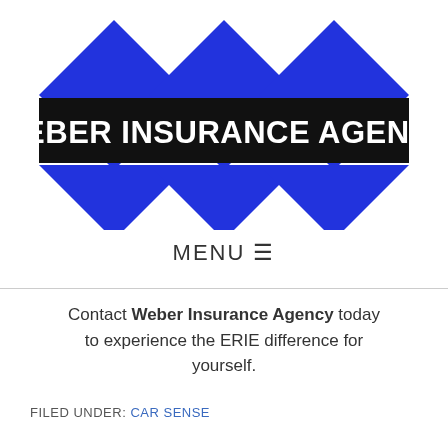[Figure (logo): Weber Insurance Agency logo with three blue diamonds and black banner with white bold text reading WEBER INSURANCE AGENCY]
MENU ☰
Contact Weber Insurance Agency today to experience the ERIE difference for yourself.
FILED UNDER: CAR SENSE